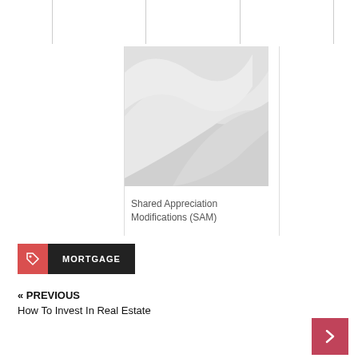[Figure (illustration): Placeholder image with gray curved/wavy shapes on a light gray background]
Shared Appreciation Modifications (SAM)
MORTGAGE
« PREVIOUS
How To Invest In Real Estate
NEXT »
Mortgage Movies Journal